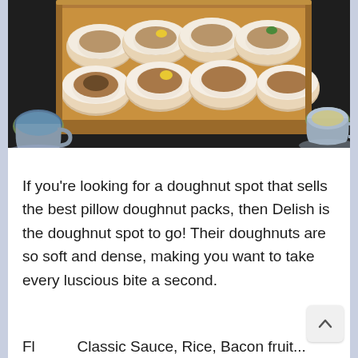[Figure (photo): A box of powdered sugar pillow doughnuts, some with colored cream toppings (yellow and green), alongside two floral teacups with tea, on a dark background.]
If you're looking for a doughnut spot that sells the best pillow doughnut packs, then Delish is the doughnut spot to go! Their doughnuts are so soft and dense, making you want to take every luscious bite a second.
Fl... Classic Sauce, Rice, Bacon fruit...